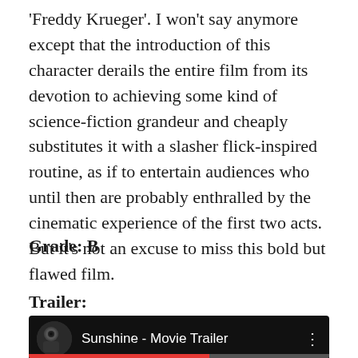'Freddy Krueger'. I won't say anymore except that the introduction of this character derails the entire film from its devotion to achieving some kind of science-fiction grandeur and cheaply substitutes it with a slasher flick-inspired routine, as if to entertain audiences who until then are probably enthralled by the cinematic experience of the first two acts. But it's not an excuse to miss this bold but flawed film.
Grade: B
Trailer:
[Figure (screenshot): YouTube video thumbnail showing 'Sunshine - Movie Trailer' with a dark background, circular thumbnail image of a helmeted figure on the left, title text in white, and a vertical three-dot menu icon on the right. A partial progress bar is visible at the bottom.]